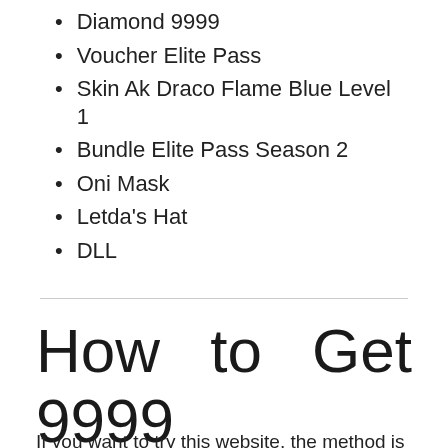Diamond 9999
Voucher Elite Pass
Skin Ak Draco Flame Blue Level 1
Bundle Elite Pass Season 2
Oni Mask
Letda's Hat
DLL
How to Get 9999 Diamond Prize In Lucky Spin Free Fire
If you want to try this website, the method is